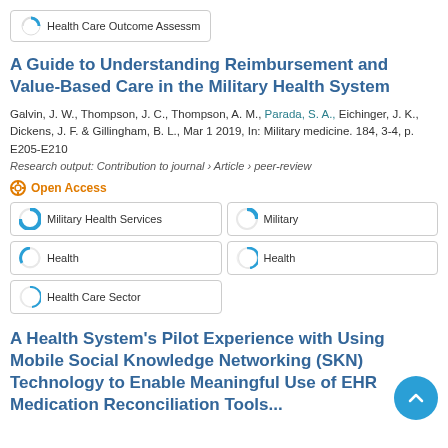Health Care Outcome Assessm
A Guide to Understanding Reimbursement and Value-Based Care in the Military Health System
Galvin, J. W., Thompson, J. C., Thompson, A. M., Parada, S. A., Eichinger, J. K., Dickens, J. F. & Gillingham, B. L., Mar 1 2019, In: Military medicine. 184, 3-4, p. E205-E210
Research output: Contribution to journal › Article › peer-review
Open Access
Military Health Services
Military
Health
Health
Health Care Sector
A Health System's Pilot Experience with Using Mobile Social Knowledge Networking (SKN) Technology to Enable Meaningful Use of EHR Medication Reconciliation Tools...